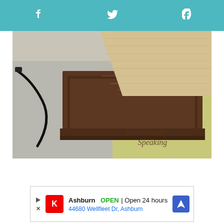f  [twitter]  p
[Figure (photo): Close-up photo of a wooden furniture piece (appears to be a TV stand or cabinet) with a dark walnut-stained base/drawer front and a light natural wood top surface. The piece sits between two rugs — a grey textured rug on the left and a yellow/green rug on the right. A black cable is visible on the grey rug. A watermark in cursive reads 'Domestically Speaking' in the lower right corner.]
[Figure (other): Advertisement for a local business showing a red logo with the letters CK, the name 'Ashburn', status 'OPEN | Open 24 hours', address '44680 Wellfleet Dr, Ashburn', and a blue navigation/directions icon.]